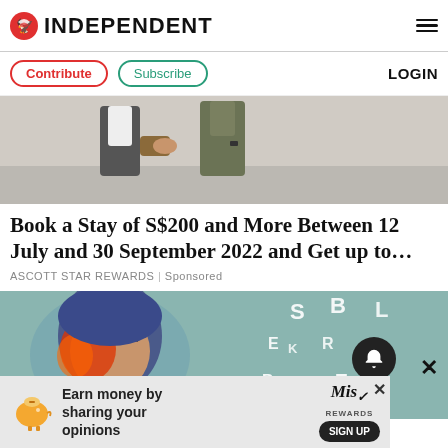INDEPENDENT
Contribute | Subscribe | LOGIN
[Figure (photo): Two people walking together outdoors, one wearing a white t-shirt and dark vest carrying a bag, the other in an olive jacket with a watch]
Book a Stay of S$200 and More Between 12 July and 30 September 2022 and Get up to…
ASCOTT STAR REWARDS | Sponsored
[Figure (photo): Person with blue hair with colorful heat-map overlay on face, surrounded by floating letters S, B, L, E, K, R, N, C, T, X on a teal background]
[Figure (advertisement): Ad banner: Earn money by sharing your opinions – Miso Rewards SIGN UP]